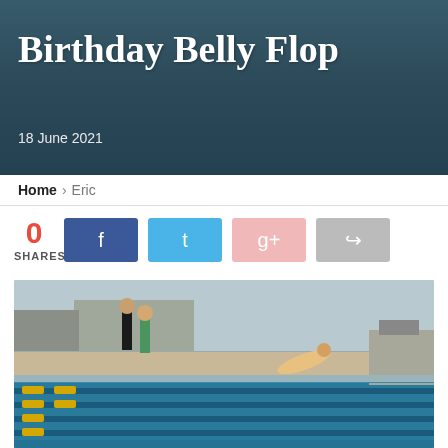Birthday Belly Flop
18 June 2021
Home > Eric
0 SHARES
[Figure (photo): Outdoor swimming pool with swimmers and pool lane dividers with yellow and black floats. A person is diving/belly flopping into the pool. People standing poolside in background near a building.]